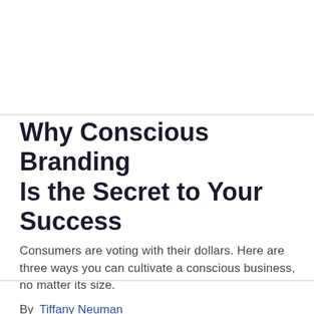Why Conscious Branding Is the Secret to Your Success
Consumers are voting with their dollars. Here are three ways you can cultivate a conscious business, no matter its size.
By  Tiffany Neuman
Opinions expressed by Entrepreneur contributors are their own.